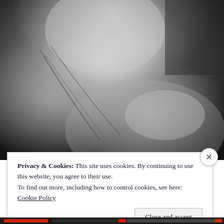[Figure (photo): Black and white close-up photograph of a person's neck and shoulder, with a hand resting on the shoulder and hair falling across. Background appears to be a dark textured surface.]
Privacy & Cookies: This site uses cookies. By continuing to use this website, you agree to their use.
To find out more, including how to control cookies, see here: Cookie Policy
Close and accept